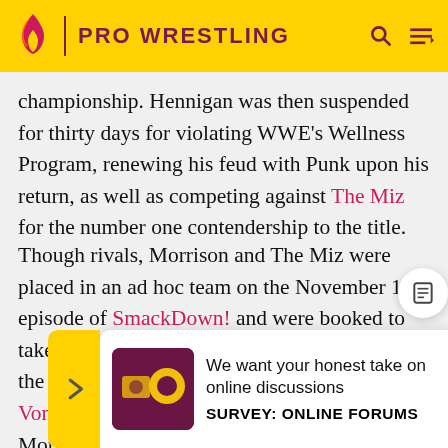PRO WRESTLING
championship. Hennigan was then suspended for thirty days for violating WWE's Wellness Program, renewing his feud with Punk upon his return, as well as competing against The Miz for the number one contendership to the title.
Though rivals, Morrison and The Miz were placed in an ad hoc team on the November 16 episode of SmackDown! and were booked to take the WWE Tag Team Championship from the imploding team of Matt Hardy and Montel Vontavious Porter. At Survivor Series, Morrison and T... threa... eat, the ri... ded, as the...
[Figure (infographic): Survey promotion box: 'We want your honest take on online discussions' with SURVEY: ONLINE FORUMS label and decorative image thumbnail]